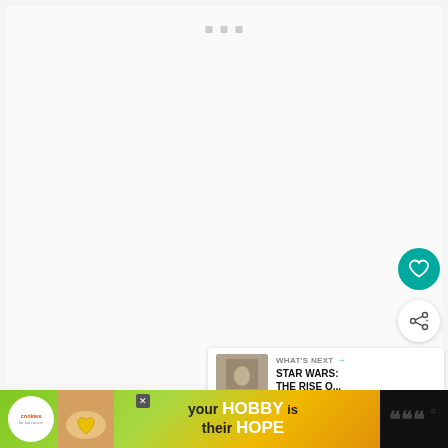[Figure (screenshot): A mostly blank white video player area with three small grey square dots near the top center, indicating a loading or placeholder state.]
[Figure (screenshot): Teal circular button with a white heart icon (favorite/like button)]
[Figure (screenshot): White circular share button with share/forward icon]
[Figure (screenshot): What's Next panel showing a thumbnail and text: WHAT'S NEXT → STAR WARS: THE RISE O...]
[Figure (screenshot): Bottom advertisement bar: cookies for kid cancer ad with tagline 'your HOBBY is their HOPE', with close button and logo on right]